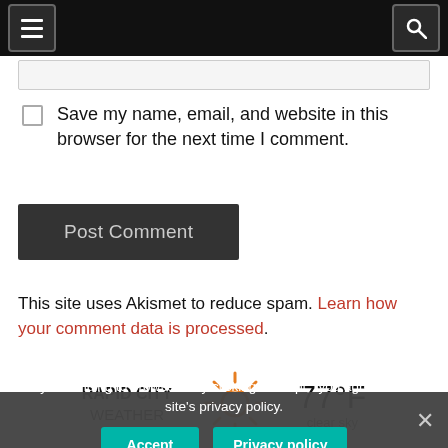Navigation bar with hamburger menu and search icon
Save my name, email, and website in this browser for the next time I comment.
Post Comment
This site uses Akismet to reduce spam. Learn how your comment data is processed.
[Figure (infographic): Rapid City Weather widget showing 77°F clear sky with sun icon]
By continuing to browse or by clicking "Accept," you agree to our site's privacy policy.
Accept | Privacy policy